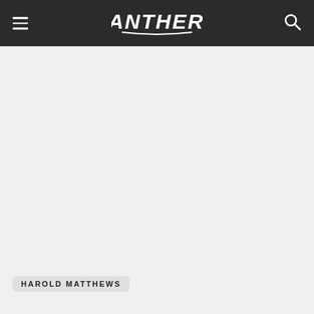PANTHERS
[Figure (photo): Large empty grey area representing a main content image placeholder on a Panthers website page]
HAROLD MATTHEWS